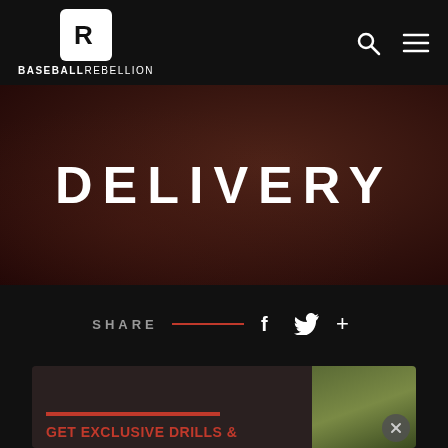BASEBALL REBELLION
DELIVERY
SHARE
[Figure (screenshot): Promotional content card with red bar and text GET EXCLUSIVE DRILLS & with a close button]
GET EXCLUSIVE DRILLS &